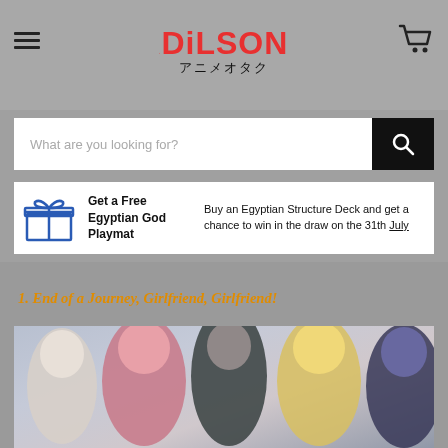Adilsons アニメオタク
What are you looking for?
Get a Free Egyptian God Playmat — Buy an Egyptian Structure Deck and get a chance to win in the draw on the 31th July
1. End of a Journey, Girlfriend, Girlfriend!
[Figure (photo): Anime characters group photo from Girlfriend, Girlfriend series]